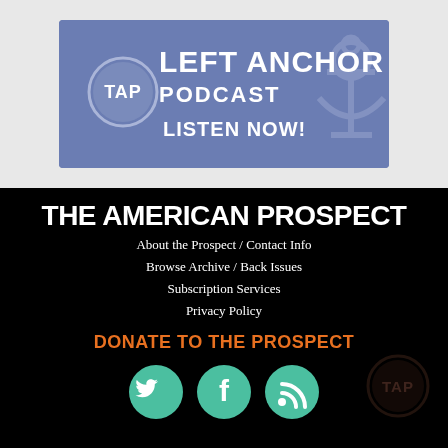[Figure (logo): Left Anchor Podcast banner with TAP circle logo, anchor graphic, and text LEFT ANCHOR PODCAST LISTEN NOW! on blue/purple background]
THE AMERICAN PROSPECT
About the Prospect / Contact Info
Browse Archive / Back Issues
Subscription Services
Privacy Policy
DONATE TO THE PROSPECT
[Figure (illustration): Three social media icons (Twitter bird, Facebook f, RSS feed) in teal/green circles]